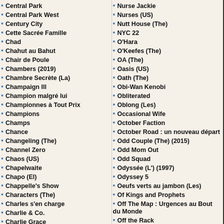Central Park
Central Park West
Century City
Cette Sacrée Famille
Chad
Chahut au Bahut
Chair de Poule
Chambers (2019)
Chambre Secrète (La)
Champaign Ill
Champion malgré lui
Championnes à Tout Prix
Champions
Champs
Chance
Changeling (The)
Channel Zero
Chaos (US)
Chapelwaite
Chapo (El)
Chappelle's Show
Characters (The)
Charles s'en charge
Charlie & Co.
Charlie Grace
Charlie Hoover
Charlie Lawrence
Charlie's Angels
Charmed (1998)
Charmed (2018)
Chase (1973)
Chase (2010)
Nurse Jackie
Nurses (US)
Nutt House (The)
NYC 22
O'Hara
O'Keefes (The)
OA (The)
Oasis (US)
Oath (The)
Obi-Wan Kenobi
Obliterated
Oblong (Les)
Occasional Wife
October Faction
October Road : un nouveau départ
Odd Couple (The) (2015)
Odd Mom Out
Odd Squad
Odyssée (L') (1997)
Odyssey 5
Oeufs verts au jambon (Les)
Of Kings and Prophets
Off The Map : Urgences au Bout du Monde
Off the Rack
Offer (The)
Office (The) (1995)
Office (The) (2005)
Oh ! Baby
Oh Madeline
Oiseaux se Cachent Pour Mourir